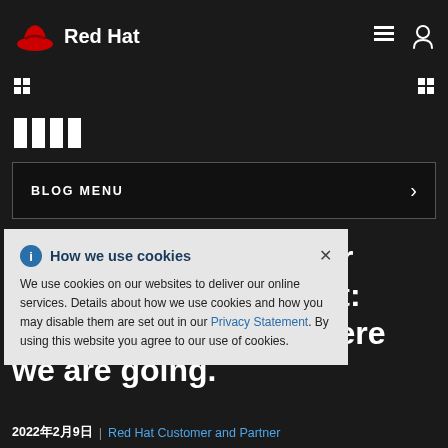[Figure (logo): Red Hat logo with red hat icon and white 'Red Hat' wordmark on dark background]
[Figure (infographic): Four white vertical rectangle icons (waffle/grid icons) on dark background]
BLOG MENU
The State of Customer Experience at Red Hat: Where we are and where we are going.
How we use cookies

We use cookies on our websites to deliver our online services. Details about how we use cookies and how you may disable them are set out in our Privacy Statement. By using this website you agree to our use of cookies.
2022年2月9日  |  Red Hat Customer and Partner Experience